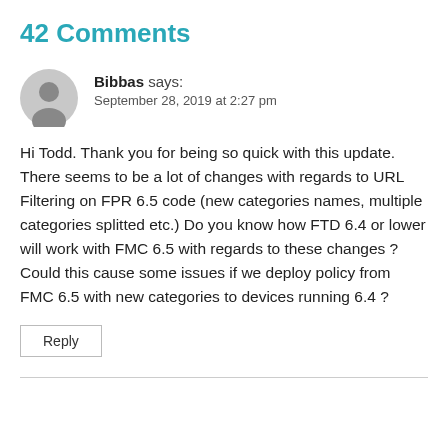42 Comments
Bibbas says:
September 28, 2019 at 2:27 pm
Hi Todd. Thank you for being so quick with this update. There seems to be a lot of changes with regards to URL Filtering on FPR 6.5 code (new categories names, multiple categories splitted etc.) Do you know how FTD 6.4 or lower will work with FMC 6.5 with regards to these changes ? Could this cause some issues if we deploy policy from FMC 6.5 with new categories to devices running 6.4 ?
Reply